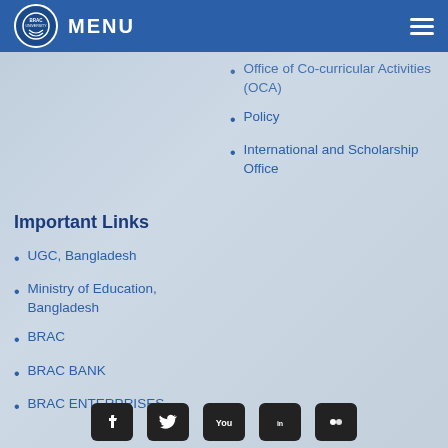BRAC UNIVERSITY | MENU
Office of Co-curricular Activities (OCA)
Policy
International and Scholarship Office
Important Links
UGC, Bangladesh
Ministry of Education, Bangladesh
BRAC
BRAC BANK
BRAC ENTERPRISES
Social media icons: Facebook, Twitter, YouTube, LinkedIn, Flickr